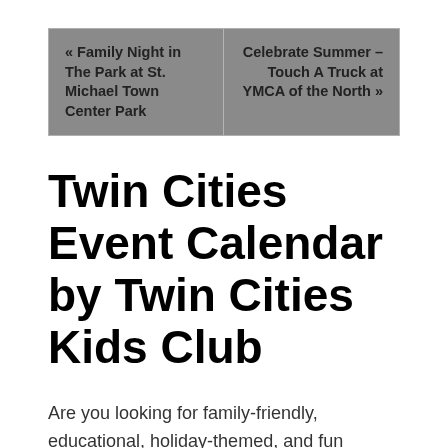« Family Night in The Park at St. Michael Town Center Park | Celebrate Summer – Touch A Truck at YMCA of the North »
Twin Cities Event Calendar by Twin Cities Kids Club
Are you looking for family-friendly, educational, holiday-themed, and fun events to take the kids to? Our Twin Cities Event Calendar is the perfect resource for finding activities and